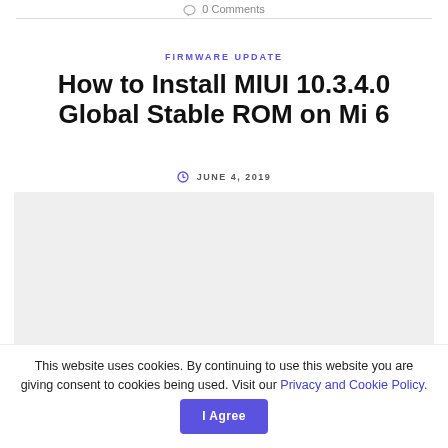0 Comments
FIRMWARE UPDATE
How to Install MIUI 10.3.4.0 Global Stable ROM on Mi 6
JUNE 4, 2019
[Figure (other): Light grey image placeholder rectangle]
This website uses cookies. By continuing to use this website you are giving consent to cookies being used. Visit our Privacy and Cookie Policy.